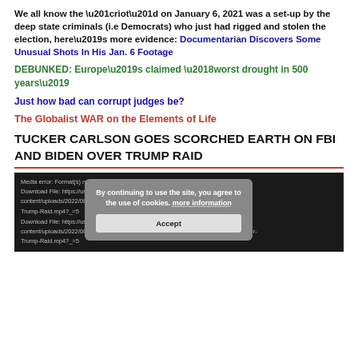We all know the “riot” on January 6, 2021 was a set-up by the deep state criminals (i.e Democrats) who just had rigged and stolen the election, here’s more evidence: Documentarian Discovers Some Unusual Shots In His Jan. 6 Footage
DEBUNKED: Europe’s claimed ‘worst drought in 500 years’
Just how bad can corrupt judges be?
The Globalist WAR on the Elements of Life
TUCKER CARLSON GOES SCORCHED EARTH ON FBI AND BIDEN OVER TRUMP RAID
[Figure (screenshot): Screenshot of a media player error message on dark background with a cookie consent modal overlay. Media error text and download file URLs are visible. The modal reads: 'By continuing to use the site, you agree to the use of cookies. more information' with an Accept button.]